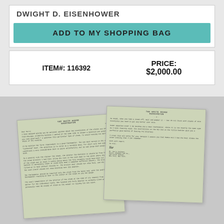DWIGHT D. EISENHOWER
ADD TO MY SHOPPING BAG
ITEM#: 116392
PRICE: $2,000.00
[Figure (photo): Two vintage White House letterhead letters on greenish paper, slightly overlapping and angled, showing typed text. The letters appear to be signed correspondence from Dwight D. Eisenhower.]